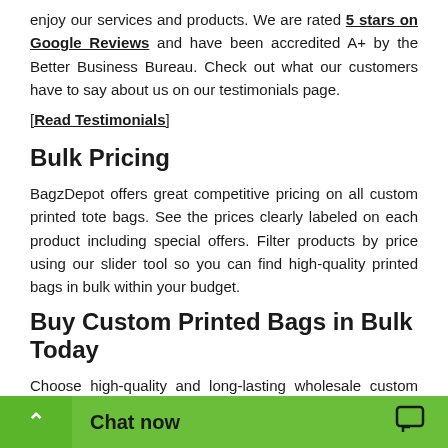enjoy our services and products. We are rated 5 stars on Google Reviews and have been accredited A+ by the Better Business Bureau. Check out what our customers have to say about us on our testimonials page.
[Read Testimonials]
Bulk Pricing
BagzDepot offers great competitive pricing on all custom printed tote bags. See the prices clearly labeled on each product including special offers. Filter products by price using our slider tool so you can find high-quality printed bags in bulk within your budget.
Buy Custom Printed Bags in Bulk Today
Choose high-quality and long-lasting wholesale custom printed bags to showcase your logo, brand, or design.